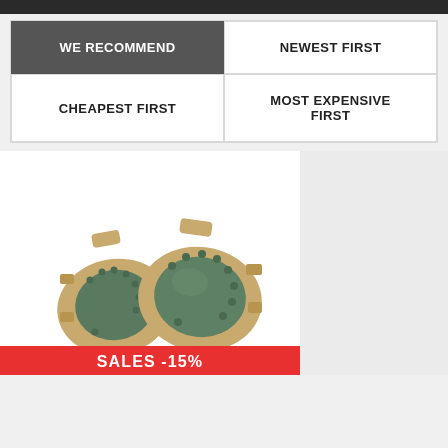WE RECOMMEND
NEWEST FIRST
CHEAPEST FIRST
MOST EXPENSIVE FIRST
[Figure (photo): A pair of tan/khaki military-style knee pads with green hard caps and rivets]
SALES -15%